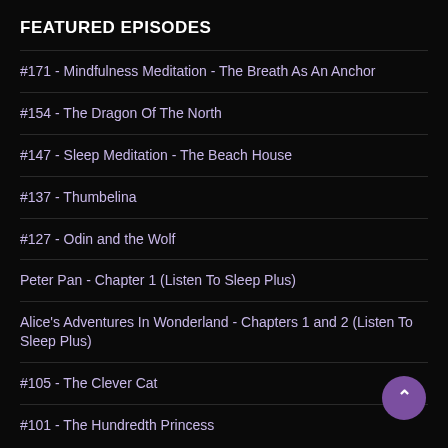FEATURED EPISODES
#171 - Mindfulness Meditation - The Breath As An Anchor
#154 - The Dragon Of The North
#147 - Sleep Meditation - The Beach House
#137 - Thumbelina
#127 - Odin and the Wolf
Peter Pan - Chapter 1 (Listen To Sleep Plus)
Alice's Adventures In Wonderland - Chapters 1 and 2 (Listen To Sleep Plus)
#105 - The Clever Cat
#101 - The Hundredth Princess